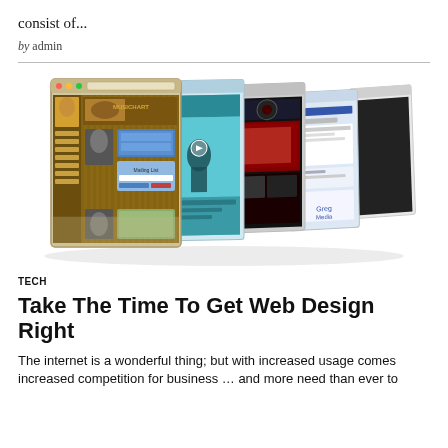consist of...
by admin
[Figure (illustration): Collage of multiple website design screenshots displayed as overlapping 3D panels, showing various web designs including music sites, social pages, and colorful layouts.]
TECH
Take The Time To Get Web Design Right
The internet is a wonderful thing; but with increased usage comes increased competition for business … and more need than ever to